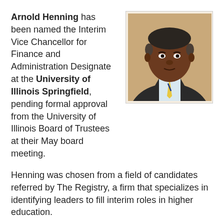Arnold Henning has been named the Interim Vice Chancellor for Finance and Administration Designate at the University of Illinois Springfield, pending formal approval from the University of Illinois Board of Trustees at their May board meeting.
[Figure (photo): Headshot of Arnold Henning, a middle-aged Black man in a dark suit and yellow/blue striped tie, against a tan background.]
Henning was chosen from a field of candidates referred by The Registry, a firm that specializes in identifying leaders to fill interim roles in higher education.
He has more than 30 years of financial leadership experience, recently served in several interim and transitional roles at Northeastern Illinois University and California State University.
He retired in 2016 from Marian University in Fond du Lac, Wisconsin where he served as Vice President for Business...